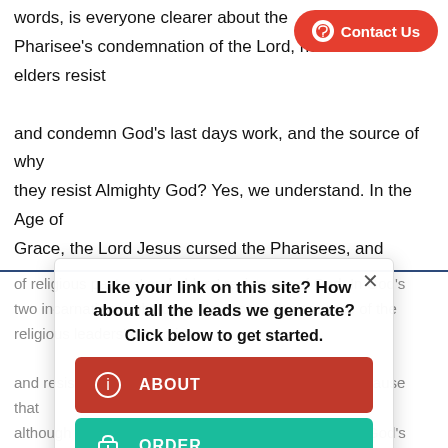words, is everyone clearer about the Pharisee's condemnation of the Lord, how the elders resist and condemn God's last days work, and the source of why they resist Almighty God? Yes, we understand. In the Age of Grace, the Lord Jesus cursed the Pharisees, and exposed the Pharisees as the hypocrites that they were. Almighty God of the last days has arrived, and has revealed the behavior and essence
of religious pastors' and elders' resistance of God. In God's two incarnations, why does He expose the essence of the religious leaders' hypocrisy and resistance of God. The reason is that? This is because that although they claim to serve God, they don't practice God's words, they disregard the commandments. They have no reality of the truth, and they definitely don't submit themselves to God; they only observe a handful of
[Figure (infographic): Popup overlay with title 'Like your link on this site? How about all the leads we generate?' and subtitle 'Click below to get started.' with three buttons: ABOUT (red), ORDER (teal), TRY NOW (dark). Close X button in top right.]